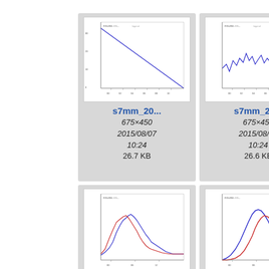[Figure (screenshot): File browser thumbnail gallery showing scientific plot images with filenames, dimensions, dates and file sizes. Top row: s7mm_20... (675x450, 2015/08/07 10:24, 26.7 KB) showing a rising line chart; s7mm_20... (675x450, 2015/08/07 10:24, 26.6 KB) showing a noisy line chart; partial third card. Bottom row: s14mm_a... (675x450, 2014/10/01 11:01, 43.3 KB) showing red and blue curves; s14mm_a... (675x450, 2014/10/01 11:01, 36.3 KB) showing red and blue bell curves; partial third card.]